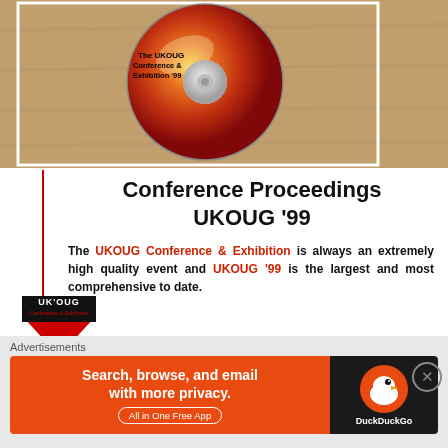[Figure (photo): A red CD/DVD disc labeled 'The UKOUG Conference & Exhibition '99' on a wooden surface background]
Conference Proceedings
UKOUG '99
The UKOUG Conference & Exhibition is always an extremely high quality event and UKOUG '99 is the largest and most comprehensive to date.
[Figure (logo): UKOUG logo with red downward-pointing triangle and text]
Conference
UKOUG '99 is the largest event for the Oracle Community in the UK. The content of the conference is of value to everyone interested in IT - both the business strategist and the technical user alike. The
[Figure (infographic): DuckDuckGo advertisement banner: 'Search, browse, and email with more privacy. All in One Free App' with DuckDuckGo logo on dark background]